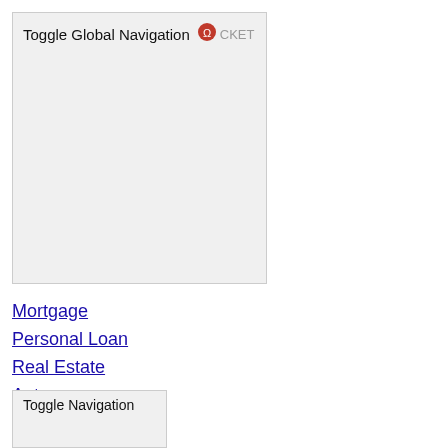[Figure (screenshot): Navigation box with 'Toggle Global Navigation' text and Rocket logo icon in red]
Mortgage
Personal Loan
Real Estate
Auto
Solar
Toggle Navigation